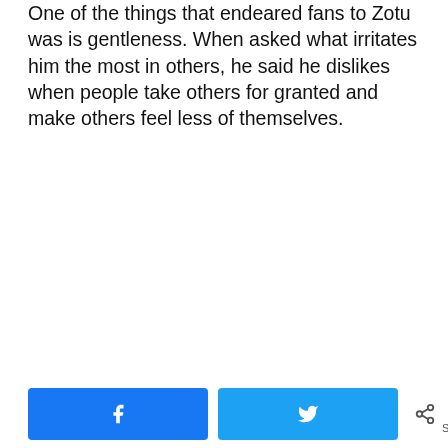One of the things that endeared fans to Zotu was is gentleness. When asked what irritates him the most in others, he said he dislikes when people take others for granted and make others feel less of themselves.
Facebook share button | Twitter share button | 0 SHARES